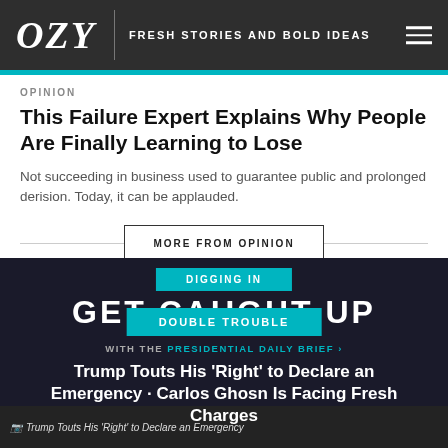OZY — FRESH STORIES AND BOLD IDEAS
OPINION
This Failure Expert Explains Why People Are Finally Learning to Lose
Not succeeding in business used to guarantee public and prolonged derision. Today, it can be applauded.
MORE FROM OPINION
DIGGING IN
GET CAUGHT UP
DOUBLE TROUBLE
WITH THE PRESIDENTIAL DAILY BRIEF ›
Trump Touts His 'Right' to Declare an Emergency Carlos Ghosn Is Facing Fresh Charges
Trump Touts His 'Right' to Declare an Emergency